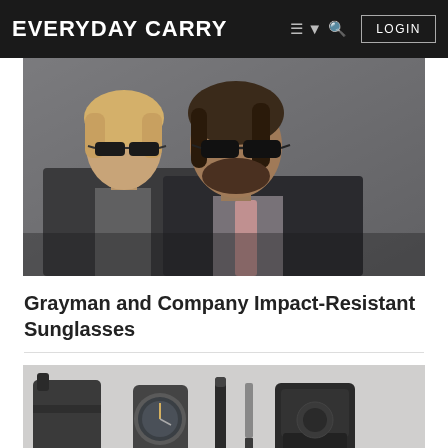EVERYDAY CARRY  ≡ ▾  🔍  LOGIN
[Figure (photo): Two men in dark suits wearing black wayfarer-style sunglasses, one with blonde hair in the background and one with dark hair and beard in the foreground.]
Grayman and Company Impact-Resistant Sunglasses
[Figure (photo): A flat-lay product image showing tactical everyday carry gear including a black bag/case, a tactical watch, a pen, a folding knife, and a black backpack.]